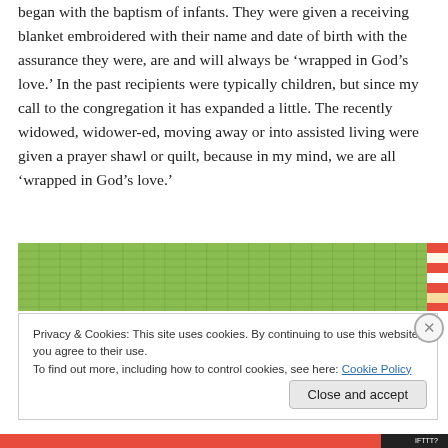began with the baptism of infants.  They were given a receiving blanket embroidered with their name and date of birth with the assurance they were, are and will always be ‘wrapped in God’s love.’  In the past recipients were typically children, but since my call to the congregation it has expanded a little.  The recently widowed, widower-ed, moving away or into assisted living were given a prayer shawl or quilt, because in my mind, we are all ‘wrapped in God’s love.’
[Figure (photo): Photo of a green quilt with cross-hatch pattern, with a red and white patterned fabric visible at the right edge.]
Privacy & Cookies: This site uses cookies. By continuing to use this website, you agree to their use.
To find out more, including how to control cookies, see here: Cookie Policy
Close and accept